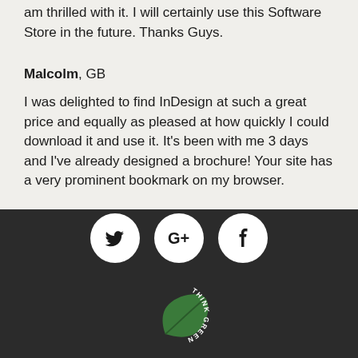am thrilled with it. I will certainly use this Software Store in the future. Thanks Guys.
Malcolm, GB
I was delighted to find InDesign at such a great price and equally as pleased at how quickly I could download it and use it. It's been with me 3 days and I've already designed a brochure! Your site has a very prominent bookmark on my browser.
[Figure (logo): Social media icons: Twitter bird, Google+ G+, Facebook f — white circles on dark background, followed by Think Green leaf logo in green with circular text]